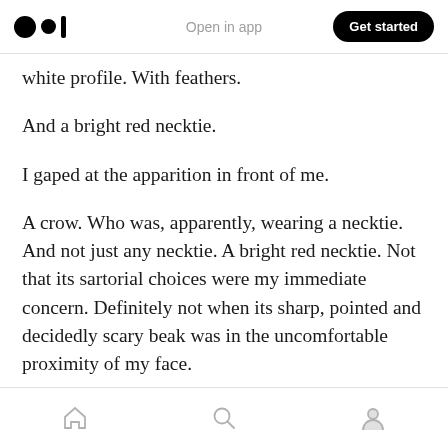Medium app header — Open in app | Get started
white profile. With feathers.
And a bright red necktie.
I gaped at the apparition in front of me.
A crow. Who was, apparently, wearing a necktie. And not just any necktie. A bright red necktie. Not that its sartorial choices were my immediate concern. Definitely not when its sharp, pointed and decidedly scary beak was in the uncomfortable proximity of my face.
Home | Search | Profile